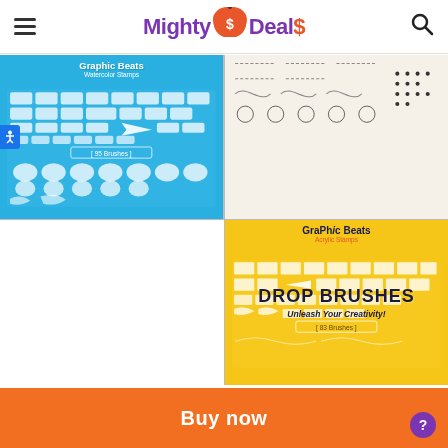Mighty Deal$
[Figure (illustration): Graphic Beats Watercolor Stamps brush set on cyan/blue background, showing grid of brush swatches, '95 Brushes' label, and circular stamp shapes]
[Figure (illustration): Sketchy hand-drawn doodle patterns on cream background]
[Figure (illustration): Drop Brushes - Unleash Your Creativity! product image with colorful abstract shapes on peach background]
[Figure (illustration): Happy My Place font/lettering product on white background with teal trees, orange speech bubble and green paint stroke]
[Figure (illustration): Graphic Beats Acrylic Stamps brush set on yellow background showing grid of brush swatches and '83 Brushes' label]
Buy now